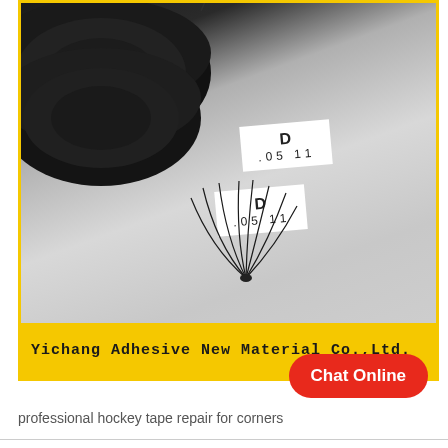[Figure (photo): Product photo showing eyelash extension spools/trays with black lashes, two white label cards reading 'D .05 11', and a small fan of individual lashes in the foreground. Yellow border frame. Brand text 'Yichang Adhesive New Material Co.,Ltd.' on yellow bar at bottom of image.]
professional hockey tape repair for corners